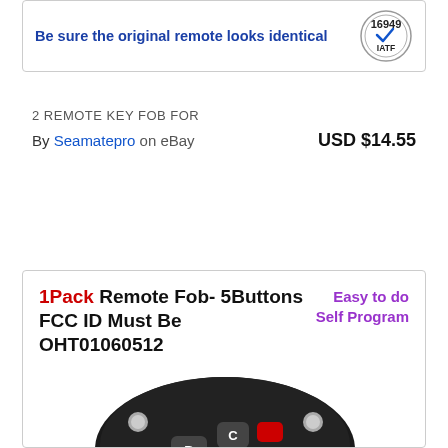[Figure (infographic): Top banner with text 'Be sure the original remote looks identical' and IATF 16949 certification logo]
2 REMOTE KEY FOB FOR
By Seamatepro on eBay    USD $14.55
[Figure (photo): Product card showing a 5-button flip key fob remote with text '1Pack Remote Fob- 5Buttons FCC ID Must Be OHT01060512' and 'Easy to do Self Program' label, with a photo of a black flip key remote]